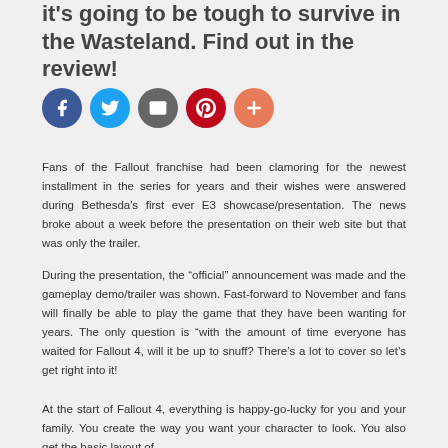it's going to be tough to survive in the Wasteland. Find out in the review!
[Figure (infographic): Five social sharing buttons: Facebook (dark blue), Twitter (light blue), Email (gray), Pinterest (red), More/Plus (orange-red)]
Fans of the Fallout franchise had been clamoring for the newest installment in the series for years and their wishes were answered during Bethesda's first ever E3 showcase/presentation. The news broke about a week before the presentation on their web site but that was only the trailer.
During the presentation, the “official” announcement was made and the gameplay demo/trailer was shown. Fast-forward to November and fans will finally be able to play the game that they have been wanting for years. The only question is “with the amount of time everyone has waited for Fallout 4, will it be up to snuff? There’s a lot to cover so let’s get right into it!
At the start of Fallout 4, everything is happy-go-lucky for you and your family. You create the way you want your character to look. You also get the basic layout of